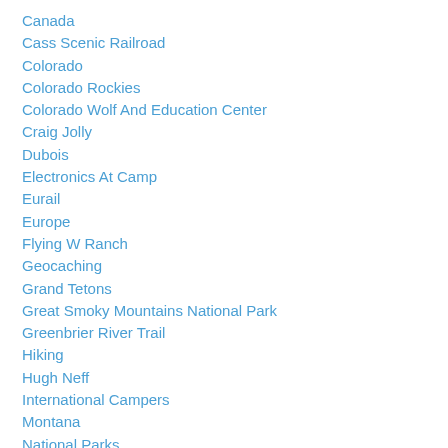Canada
Cass Scenic Railroad
Colorado
Colorado Rockies
Colorado Wolf And Education Center
Craig Jolly
Dubois
Electronics At Camp
Eurail
Europe
Flying W Ranch
Geocaching
Grand Tetons
Great Smoky Mountains National Park
Greenbrier River Trail
Hiking
Hugh Neff
International Campers
Montana
National Parks